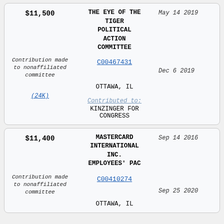| Amount/Notes | Organization/Details | Date |
| --- | --- | --- |
| $11,500 | THE EYE OF THE TIGER POLITICAL ACTION COMMITTEE
C00467431
OTTAWA, IL
Contributed to: KINZINGER FOR CONGRESS | May 14 2019
Dec 6 2019 |
| $11,400 | MASTERCARD INTERNATIONAL INC. EMPLOYEES' PAC
C00410274
OTTAWA, IL | Sep 14 2016
Sep 25 2020 |